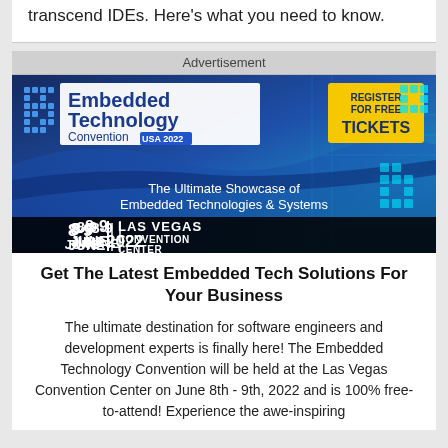transcend IDEs. Here's what you need to know.
[Figure (advertisement): Embedded Technology Convention USA 2022 advertisement banner. Shows logo with blue pixel grid, 'REGISTER FOR FREE TICKETS' yellow button, tagline 'The Ultimate Showcase of Embedded Technologies & Systems', venue details '8-9 JUNE 2022 | LAS VEGAS CONVENTION CENTER' on dark band.]
Get The Latest Embedded Tech Solutions For Your Business
The ultimate destination for software engineers and development experts is finally here! The Embedded Technology Convention will be held at the Las Vegas Convention Center on June 8th - 9th, 2022 and is 100% free-to-attend! Experience the awe-inspiring